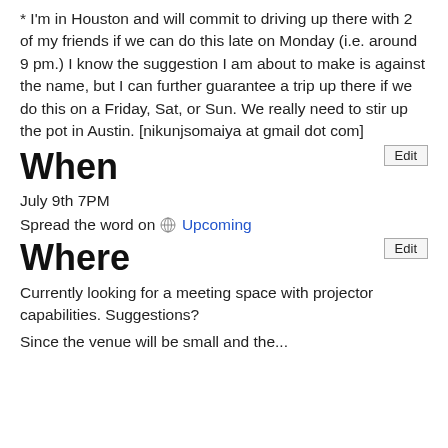* I'm in Houston and will commit to driving up there with 2 of my friends if we can do this late on Monday (i.e. around 9 pm.) I know the suggestion I am about to make is against the name, but I can further guarantee a trip up there if we do this on a Friday, Sat, or Sun. We really need to stir up the pot in Austin. [nikunjsomaiya at gmail dot com]
Edit
When
July 9th 7PM
Spread the word on  Upcoming
Edit
Where
Currently looking for a meeting space with projector capabilities. Suggestions?
Since the venue will be small and the...